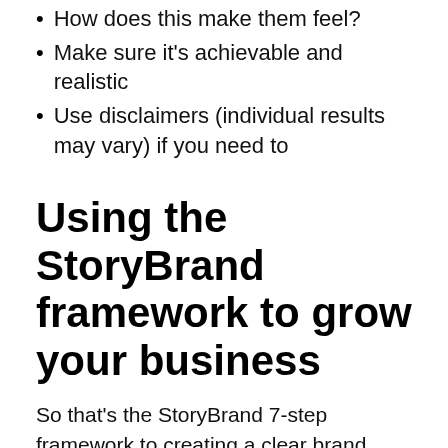How does this make them feel?
Make sure it's achievable and realistic
Use disclaimers (individual results may vary) if you need to
Using the StoryBrand framework to grow your business
So that's the StoryBrand 7-step framework to creating a clear brand message for your business. Doesn't it just make so much sense for our wellness clients?
As a StoryBrand certified guide I can help you